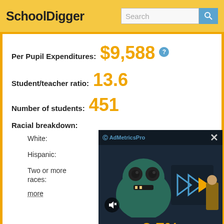SchoolDigger
Per Pupil Expenditures: $9,588
Student/teacher ratio: 13.6
Number of students: 451
Racial breakdown:
White:
Hispanic:
Two or more races:  2.7%
more
[Figure (screenshot): AdMetricsPro video ad overlay showing a cartoon monster character with play controls and a mute button. The ad displays a value of 2.7% in orange text.]